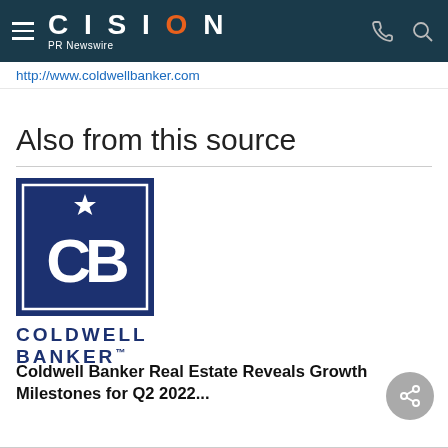CISION PR Newswire
http://www.coldwellbanker.com
Also from this source
[Figure (logo): Coldwell Banker logo: navy blue square with CB monogram and star, with COLDWELL BANKER text below]
Coldwell Banker Real Estate Reveals Growth Milestones for Q2 2022...